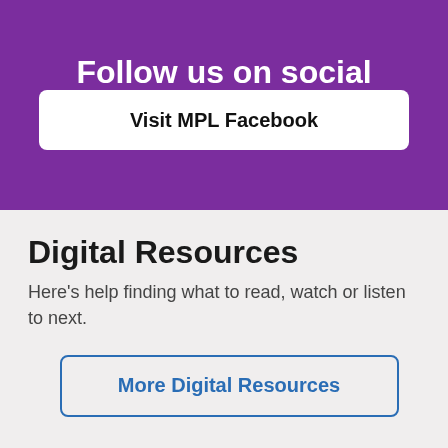Follow us on social
Visit MPL Facebook
Digital Resources
Here's help finding what to read, watch or listen to next.
More Digital Resources